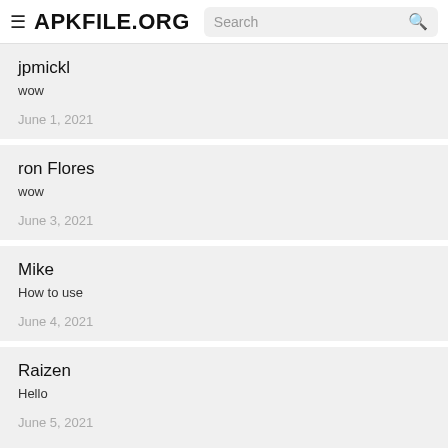APKFILE.ORG  Search
jpmickl
wow
June 1, 2021
ron Flores
wow
June 3, 2021
Mike
How to use
June 4, 2021
Raizen
Hello
June 5, 2021